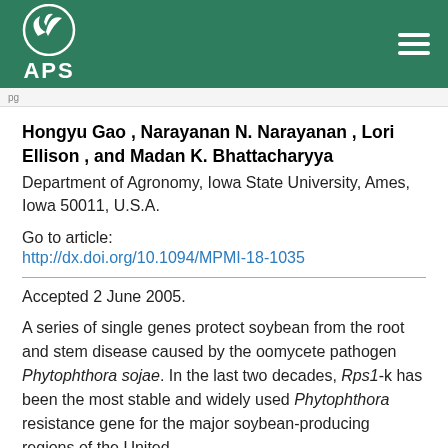[Figure (logo): APS (American Phytopathological Society) logo with plant leaves icon on dark green header bar with hamburger menu icon]
Hongyu Gao , Narayanan N. Narayanan , Lori Ellison , and Madan K. Bhattacharyya
Department of Agronomy, Iowa State University, Ames, Iowa 50011, U.S.A.
Go to article:
http://dx.doi.org/10.1094/MPMI-18-1035
Accepted 2 June 2005.
A series of single genes protect soybean from the root and stem disease caused by the oomycete pathogen Phytophthora sojae. In the last two decades, Rps1-k has been the most stable and widely used Phytophthora resistance gene for the major soybean-producing regions of the United